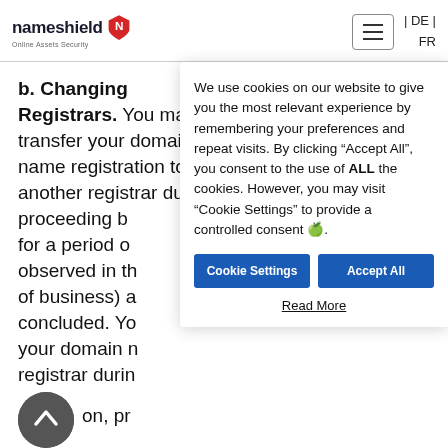nameshield Online Assets Security | DE | FR
b. Changing Registrars. You may not transfer your domain name registration to another registrar durin... proceeding b... for a period o... observed in th... of business) a... concluded. Yo... your domain n... registrar durin... circulation, pr... you have regi... subject to the proceedings commenced
We use cookies on our website to give you the most relevant experience by remembering your preferences and repeat visits. By clicking “Accept All”, you consent to the use of ALL the cookies. However, you may visit "Cookie Settings" to provide a controlled consent 🍪.
Cookie Settings
Accept All
Read More